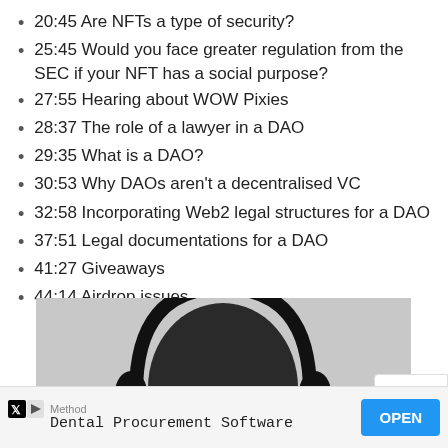20:45 Are NFTs a type of security?
25:45 Would you face greater regulation from the SEC if your NFT has a social purpose?
27:55 Hearing about WOW Pixies
28:37 The role of a lawyer in a DAO
29:35 What is a DAO?
30:53 Why DAOs aren't a decentralised VC
32:58 Incorporating Web2 legal structures for a DAO
37:51 Legal documentations for a DAO
41:27 Giveaways
44:14 Airdrop issues
[Figure (photo): Black and white photo of a person wearing headphones, cropped at head level]
Method Dental Procurement Software OPEN